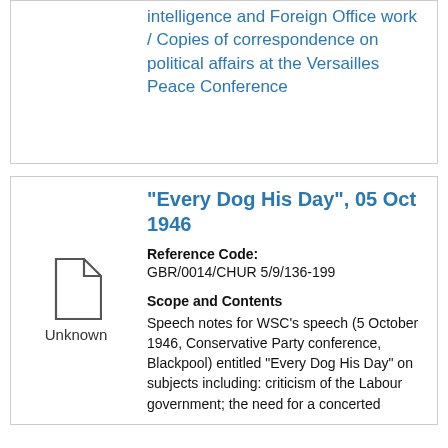intelligence and Foreign Office work / Copies of correspondence on political affairs at the Versailles Peace Conference
"Every Dog His Day", 05 Oct 1946
Reference Code: GBR/0014/CHUR 5/9/136-199
Scope and Contents
Speech notes for WSC's speech (5 October 1946, Conservative Party conference, Blackpool) entitled "Every Dog His Day" on subjects including: criticism of the Labour government; the need for a concerted...